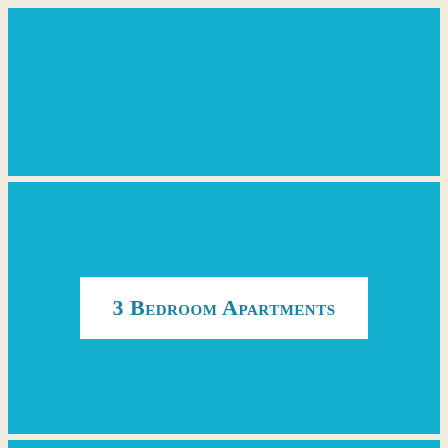[Figure (other): Top cyan/blue rectangle decorative block]
3 Bedroom Apartments
[Figure (other): Bottom cyan/blue rectangle decorative block]